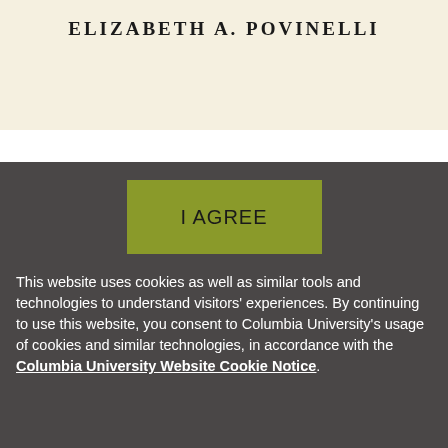ELIZABETH A. POVINELLI
[Figure (other): Olive/green colored 'I AGREE' button on dark gray background]
This website uses cookies as well as similar tools and technologies to understand visitors' experiences. By continuing to use this website, you consent to Columbia University's usage of cookies and similar technologies, in accordance with the Columbia University Website Cookie Notice.